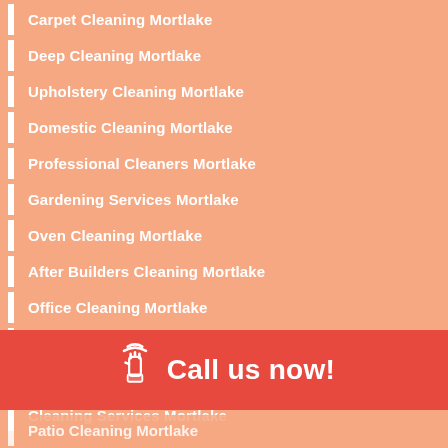Carpet Cleaning Mortlake
Deep Cleaning Mortlake
Upholstery Cleaning Mortlake
Domestic Cleaning Mortlake
Professional Cleaners Mortlake
Gardening Services Mortlake
Oven Cleaning Mortlake
After Builders Cleaning Mortlake
Office Cleaning Mortlake
Window Cleaning Mortlake
Mattress Cleaning Mortlake
Cleaning Services Mortlake
[Figure (infographic): Red banner with phone/hand icon and text 'Call us now!']
Patio Cleaning Mortlake